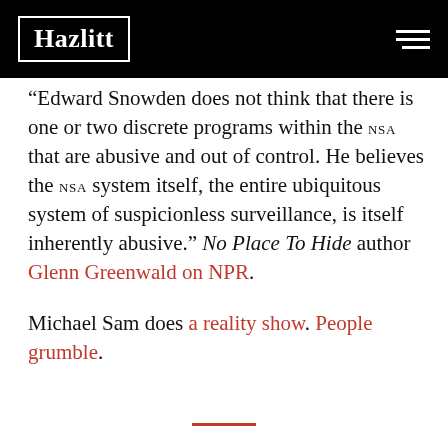Hazlitt
“Edward Snowden does not think that there is one or two discrete programs within the NSA that are abusive and out of control. He believes the NSA system itself, the entire ubiquitous system of suspicionless surveillance, is itself inherently abusive.” No Place To Hide author Glenn Greenwald on NPR.
Michael Sam does a reality show. People grumble.